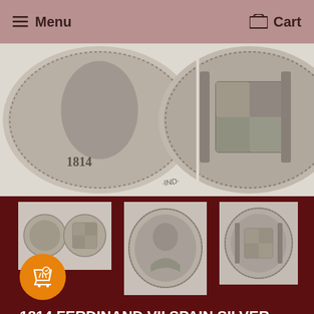Menu   Cart
[Figure (photo): Close-up photos of both sides of a silver coin dated 1814, showing eagle side and shield/coat of arms side]
[Figure (photo): Three thumbnail images of the 1814 Ferdinand VII Spain Silver Coin Mexico 8 Reales: one showing both sides small, one showing portrait/obverse, one showing reverse shield]
1814 FERDINAND VII SPAIN SILVER COIN MEXICO 8 REALES MINT MARK MO ASSAYER JJ
31/